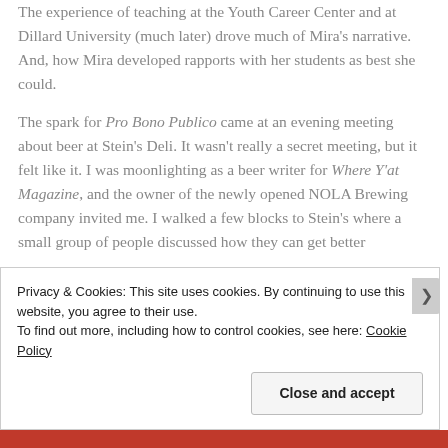The experience of teaching at the Youth Career Center and at Dillard University (much later) drove much of Mira's narrative. And, how Mira developed rapports with her students as best she could.
The spark for Pro Bono Publico came at an evening meeting about beer at Stein's Deli. It wasn't really a secret meeting, but it felt like it. I was moonlighting as a beer writer for Where Y'at Magazine, and the owner of the newly opened NOLA Brewing company invited me. I walked a few blocks to Stein's where a small group of people discussed how they can get better
Privacy & Cookies: This site uses cookies. By continuing to use this website, you agree to their use.
To find out more, including how to control cookies, see here: Cookie Policy
Close and accept